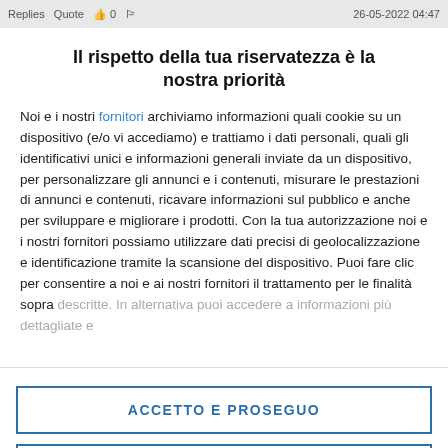Replies  Quote  👍 0  26-05-2022 04:47
Il rispetto della tua riservatezza è la nostra priorità
Noi e i nostri fornitori archiviamo informazioni quali cookie su un dispositivo (e/o vi accediamo) e trattiamo i dati personali, quali gli identificativi unici e informazioni generali inviate da un dispositivo, per personalizzare gli annunci e i contenuti, misurare le prestazioni di annunci e contenuti, ricavare informazioni sul pubblico e anche per sviluppare e migliorare i prodotti. Con la tua autorizzazione noi e i nostri fornitori possiamo utilizzare dati precisi di geolocalizzazione e identificazione tramite la scansione del dispositivo. Puoi fare clic per consentire a noi e ai nostri fornitori il trattamento per le finalità sopra descritte. In alternativa puoi accedere a informazioni più dettagliate e
ACCETTO E PROSEGUO
PIÙ OPZIONI
Sky/NowTV e modo di ricordare che le capacità...